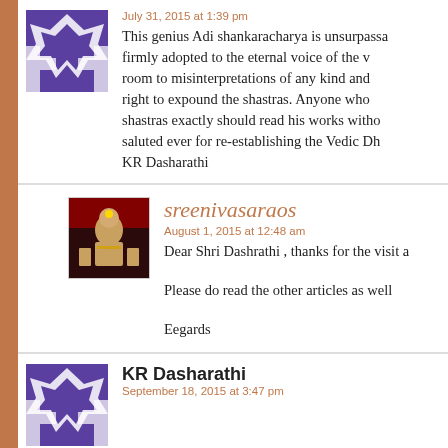July 31, 2015 at 1:39 pm
This genius Adi shankaracharya is unsurpassa... firmly adopted to the eternal voice of the v... room to misinterpretations of any kind and... right to expound the shastras. Anyone who... shastras exactly should read his works witho... saluted ever for re-establishing the Vedic Dh... KR Dasharathi
sreenivasaraos
August 1, 2015 at 12:48 am
Dear Shri Dashrathi , thanks for the visit a...
Please do read the other articles as well
Eegards
[Figure (illustration): Purple and white geometric avatar icon with triangular/star pattern]
[Figure (photo): Avatar image showing a painted portrait of a deity or sage figure with ornate clothing and jewelry]
KR Dasharathi
September 18, 2015 at 3:47 pm
[Figure (illustration): Purple and white geometric avatar icon with triangular/star pattern]